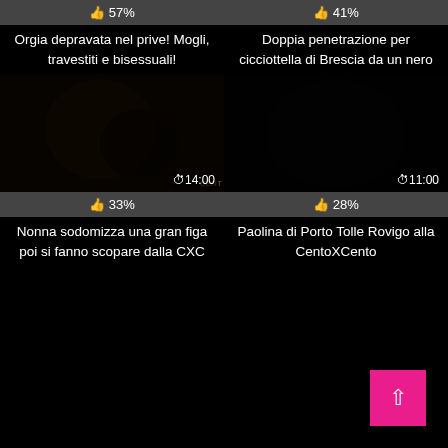👍 57%
Orgia depravata nel prive! Mogli, travestiti e bisessuali!
[Figure (photo): Dark video thumbnail showing figures, duration 14:00]
👍 33%
Nonna sodomizza una gran figa poi si fanno scopare dalla CXC
👍 41%
Doppia penetrazione per cicciottella di Brescia da un nero
[Figure (photo): Very dark video thumbnail, duration 11:00]
👍 28%
Paolina di Porto Tolle Rovigo alla CentoXCento